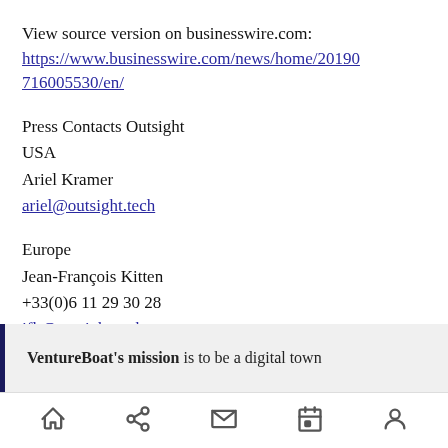View source version on businesswire.com:
https://www.businesswire.com/news/home/20190716005530/en/
Press Contacts Outsight
USA
Ariel Kramer
ariel@outsight.tech
Europe
Jean-François Kitten
+33(0)6 11 29 30 28
jfk@outsight.tech
VentureBoat's mission is to be a digital town